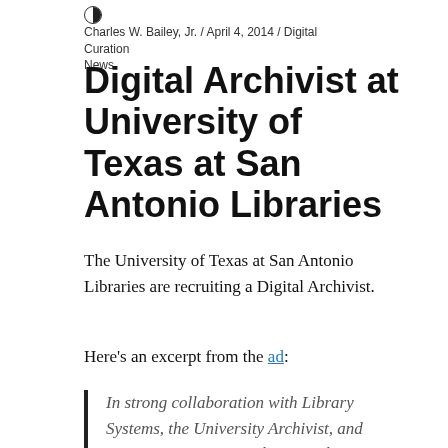Charles W. Bailey, Jr. / April 4, 2014 / Digital Curation News
Digital Archivist at University of Texas at San Antonio Libraries
The University of Texas at San Antonio Libraries are recruiting a Digital Archivist.
Here's an excerpt from the ad:
In strong collaboration with Library Systems, the University Archivist, and Manuscripts Curator, the Digital